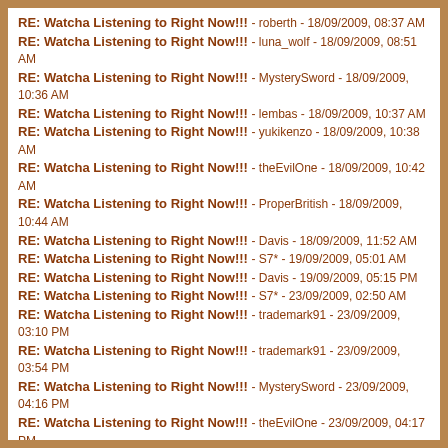RE: Watcha Listening to Right Now!!! - roberth - 18/09/2009, 08:37 AM
RE: Watcha Listening to Right Now!!! - luna_wolf - 18/09/2009, 08:51 AM
RE: Watcha Listening to Right Now!!! - MysterySword - 18/09/2009, 10:36 AM
RE: Watcha Listening to Right Now!!! - lembas - 18/09/2009, 10:37 AM
RE: Watcha Listening to Right Now!!! - yukikenzo - 18/09/2009, 10:38 AM
RE: Watcha Listening to Right Now!!! - theEvilOne - 18/09/2009, 10:42 AM
RE: Watcha Listening to Right Now!!! - ProperBritish - 18/09/2009, 10:44 AM
RE: Watcha Listening to Right Now!!! - Davis - 18/09/2009, 11:52 AM
RE: Watcha Listening to Right Now!!! - S7* - 19/09/2009, 05:01 AM
RE: Watcha Listening to Right Now!!! - Davis - 19/09/2009, 05:15 PM
RE: Watcha Listening to Right Now!!! - S7* - 23/09/2009, 02:50 AM
RE: Watcha Listening to Right Now!!! - trademark91 - 23/09/2009, 03:10 PM
RE: Watcha Listening to Right Now!!! - trademark91 - 23/09/2009, 03:54 PM
RE: Watcha Listening to Right Now!!! - MysterySword - 23/09/2009, 04:16 PM
RE: Watcha Listening to Right Now!!! - theEvilOne - 23/09/2009, 04:17 PM
RE: Watcha Listening to Right Now!!! - trademark91 - 23/09/2009